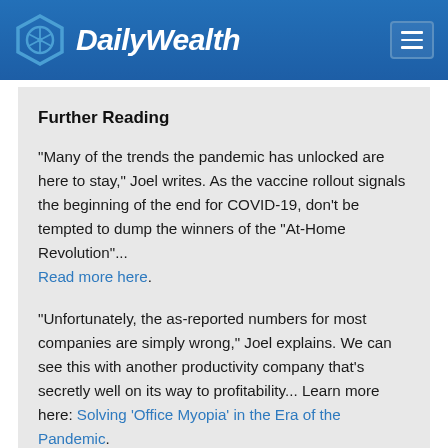DailyWealth
Further Reading
"Many of the trends the pandemic has unlocked are here to stay," Joel writes. As the vaccine rollout signals the beginning of the end for COVID-19, don't be tempted to dump the winners of the "At-Home Revolution"... Read more here.
"Unfortunately, the as-reported numbers for most companies are simply wrong," Joel explains. We can see this with another productivity company that's secretly well on its way to profitability... Learn more here: Solving 'Office Myopia' in the Era of the Pandemic.